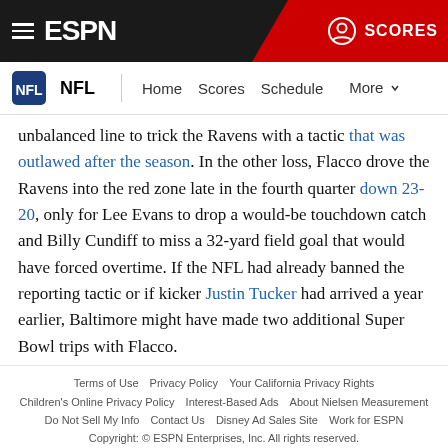ESPN navigation bar with hamburger menu, ESPN logo, and SCORES button
NFL | Home   Scores   Schedule   More
unbalanced line to trick the Ravens with a tactic that was outlawed after the season. In the other loss, Flacco drove the Ravens into the red zone late in the fourth quarter down 23-20, only for Lee Evans to drop a would-be touchdown catch and Billy Cundiff to miss a 32-yard field goal that would have forced overtime. If the NFL had already banned the reporting tactic or if kicker Justin Tucker had arrived a year earlier, Baltimore might have made two additional Super Bowl trips with Flacco.
Cons: What I wrote above is a generous interpretation of
Terms of Use   Privacy Policy   Your California Privacy Rights   Children's Online Privacy Policy   Interest-Based Ads   About Nielsen Measurement   Do Not Sell My Info   Contact Us   Disney Ad Sales Site   Work for ESPN   Copyright: © ESPN Enterprises, Inc. All rights reserved.